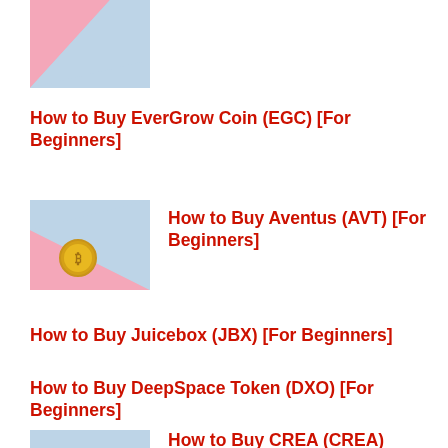[Figure (photo): Thumbnail image with pink and blue diagonal background, partially visible at top]
How to Buy EverGrow Coin (EGC) [For Beginners]
[Figure (photo): Thumbnail image showing a gold Bitcoin coin against a pink and blue background]
How to Buy Aventus (AVT) [For Beginners]
How to Buy Juicebox (JBX) [For Beginners]
How to Buy DeepSpace Token (DXO) [For Beginners]
[Figure (photo): Thumbnail image with blue and pink background, partially visible at bottom]
How to Buy CREA (CREA) [For Beginners]